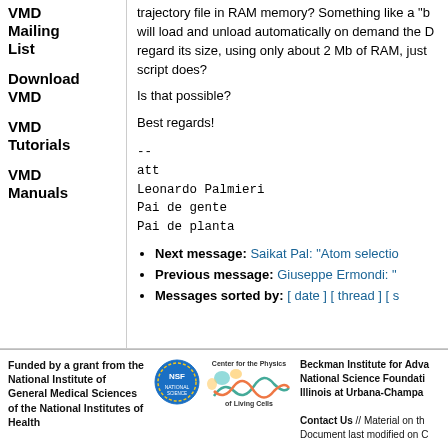VMD Mailing List
Download VMD
VMD Tutorials
VMD Manuals
trajectory file in RAM memory? Something like a "b will load and unload automatically on demand the D regard its size, using only about 2 Mb of RAM, just script does?
Is that possible?
Best regards!
--
att
Leonardo Palmieri
Pai de gente
Pai de planta
Next message: Saikat Pal: "Atom selectio
Previous message: Giuseppe Ermondi: "
Messages sorted by: [ date ] [ thread ] [ s
Funded by a grant from the National Institute of General Medical Sciences of the National Institutes of Health
Beckman Institute for Adva National Science Foundati Illinois at Urbana-Champa Contact Us // Material on th Document last modified on C